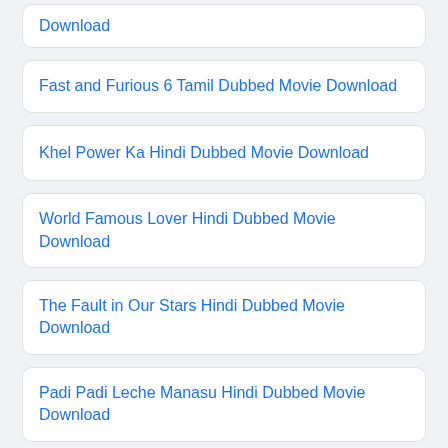Download
Fast and Furious 6 Tamil Dubbed Movie Download
Khel Power Ka Hindi Dubbed Movie Download
World Famous Lover Hindi Dubbed Movie Download
The Fault in Our Stars Hindi Dubbed Movie Download
Padi Padi Leche Manasu Hindi Dubbed Movie Download
Sita Hindi Dubbed Movie Download